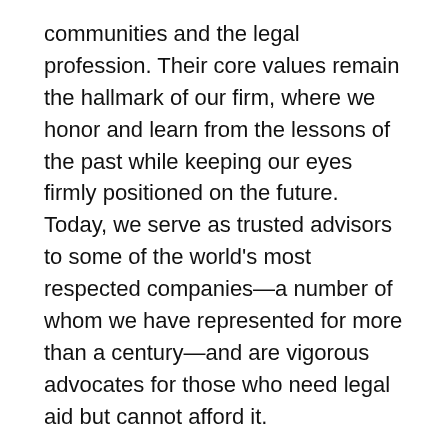communities and the legal profession. Their core values remain the hallmark of our firm, where we honor and learn from the lessons of the past while keeping our eyes firmly positioned on the future. Today, we serve as trusted advisors to some of the world's most respected companies—a number of whom we have represented for more than a century—and are vigorous advocates for those who need legal aid but cannot afford it.
Our clients include companies, individuals, governments and institutions from across the spectrum of industries that make up today's global economy. We represent nine of the Fortune 10 and more than one third of the current Fortune 100. To assist with their myriad legal and business needs, we work seamlessly across jurisdictions, bringing together cross-disciplinary teams with extensive